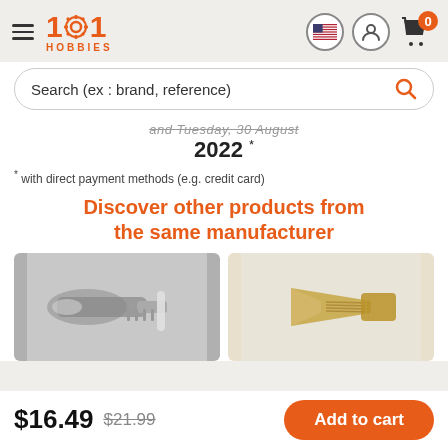1001 HOBBIES
Search (ex : brand, reference)
and Tuesday, 30 August 2022 *
* with direct payment methods (e.g. credit card)
Discover other products from the same manufacturer
[Figure (photo): Two product photos side by side: left shows metallic hobby tool in grayscale, right shows a gold/brass threaded component]
$16.49  $21.99  Add to cart